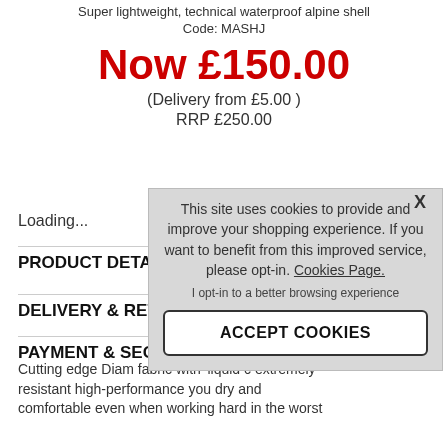Super lightweight, technical waterproof alpine shell
Code: MASHJ
Now £150.00
(Delivery from £5.00 )
RRP £250.00
Loading...
PRODUCT DETAILS
DELIVERY & RETURNS
PAYMENT & SECURITY
Cutting edge Diam fabric with 'liquid c extremely resistant high-performance you dry and comfortable even when working hard in the worst
[Figure (screenshot): Cookie consent overlay popup with text: 'This site uses cookies to provide and improve your shopping experience. If you want to benefit from this improved service, please opt-in. Cookies Page.' with an 'I opt-in to a better browsing experience' link and an 'ACCEPT COOKIES' button.]